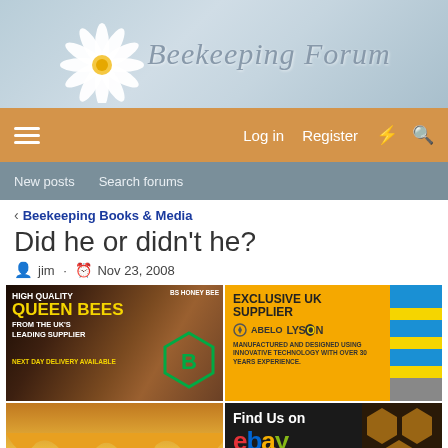[Figure (logo): Beekeeping Forum logo with daisy flower and italic cursive text]
Log in  Register
New posts  Search forums
< Beekeeping Books & Media
Did he or didn't he?
jim · Nov 23, 2008
[Figure (photo): Ad: HIGH QUALITY QUEEN BEES FROM THE UK'S LEADING SUPPLIER. NEXT DAY DELIVERY AVAILABLE. BS Honey Bees logo.]
[Figure (photo): Ad: EXCLUSIVE UK SUPPLIER - ABELO LYSON. MANUFACTURED AND DESIGNED USING INNOVATIVE TECHNOLOGY WITH OVER 30 YEARS EXPERIENCE.]
[Figure (photo): Ad: Advertise With Us! Beekeeping Forum]
[Figure (photo): Ad: Find Us on ebay - www.beekeepingforum.co.uk]